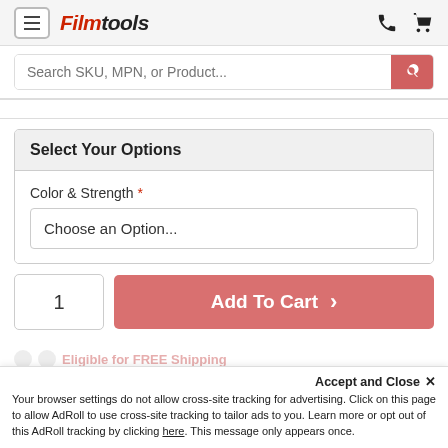[Figure (screenshot): Filmtools website header with hamburger menu button, Filmtools logo in red italic text, phone icon and cart icon on the right]
Search SKU, MPN, or Product...
Select Your Options
Color & Strength *
Choose an Option...
1
Add To Cart ›
Accept and Close ✕
Your browser settings do not allow cross-site tracking for advertising. Click on this page to allow AdRoll to use cross-site tracking to tailor ads to you. Learn more or opt out of this AdRoll tracking by clicking here. This message only appears once.